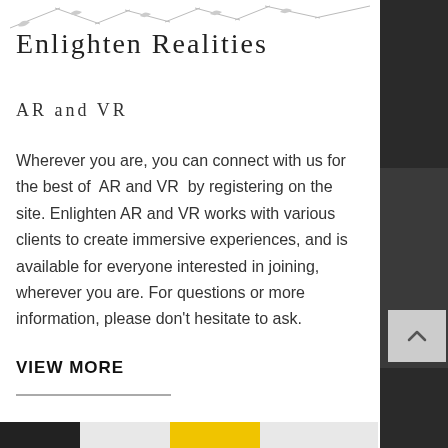Enlighten Realities
AR and VR
Wherever you are, you can connect with us for the best of AR and VR by registering on the site. Enlighten AR and VR works with various clients to create immersive experiences, and is available for everyone interested in joining, wherever you are. For questions or more information, please don't hesitate to ask.
VIEW MORE